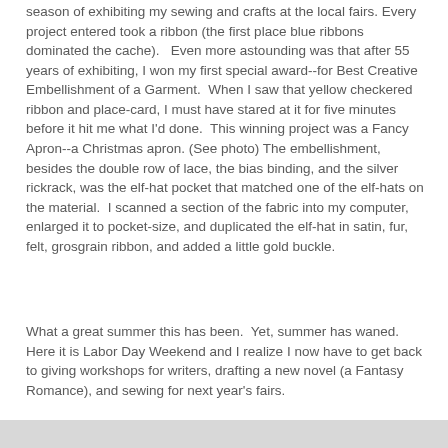season of exhibiting my sewing and crafts at the local fairs. Every project entered took a ribbon (the first place blue ribbons dominated the cache).   Even more astounding was that after 55 years of exhibiting, I won my first special award--for Best Creative Embellishment of a Garment.  When I saw that yellow checkered ribbon and place-card, I must have stared at it for five minutes before it hit me what I'd done.  This winning project was a Fancy Apron--a Christmas apron. (See photo) The embellishment, besides the double row of lace, the bias binding, and the silver rickrack, was the elf-hat pocket that matched one of the elf-hats on the material.  I scanned a section of the fabric into my computer, enlarged it to pocket-size, and duplicated the elf-hat in satin, fur, felt, grosgrain ribbon, and added a little gold buckle.
What a great summer this has been.  Yet, summer has waned.  Here it is Labor Day Weekend and I realize I now have to get back to giving workshops for writers, drafting a new novel (a Fantasy Romance), and sewing for next year's fairs.